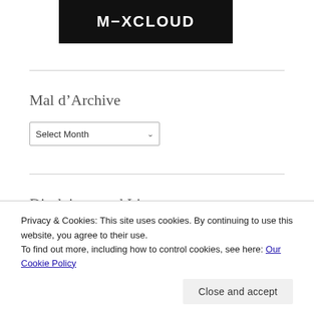[Figure (logo): Mixcloud logo: dark background rectangle with white text 'M-XCLOUD' in bold sans-serif]
Mal d'Archive
Select Month (dropdown)
Disclaimer and License
Privacy & Cookies: This site uses cookies. By continuing to use this website, you agree to their use.
To find out more, including how to control cookies, see here: Our Cookie Policy
Close and accept (button)
License: some rights reserved for third party